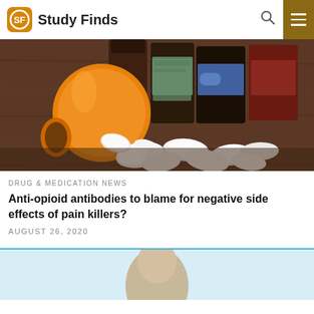Study Finds
[Figure (photo): Orange prescription pill bottle tipped over with white oval pills spilling out onto a wooden surface, with medicine bottles in the background]
DRUG & MEDICATION NEWS
Anti-opioid antibodies to blame for negative side effects of pain killers?
AUGUST 26, 2020
[Figure (photo): Partial view of a second article image with light blue background showing a person]